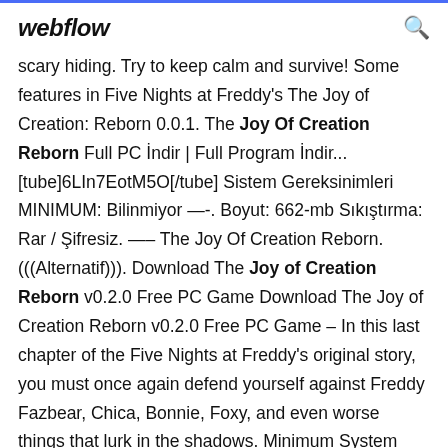webflow
scary hiding. Try to keep calm and survive! Some features in Five Nights at Freddy's The Joy of Creation: Reborn 0.0.1. The Joy Of Creation Reborn Full PC İndir | Full Program İndir... [tube]6LIn7EotM5O[/tube] Sistem Gereksinimleri MINIMUM: Bilinmiyor —-. Boyut: 662-mb Sıkıştırma: Rar / Şifresiz. —– The Joy Of Creation Reborn. (((Alternatif))). Download The Joy of Creation Reborn v0.2.0 Free PC Game Download The Joy of Creation Reborn v0.2.0 Free PC Game – In this last chapter of the Five Nights at Freddy's original story, you must once again defend yourself against Freddy Fazbear, Chica, Bonnie, Foxy, and even worse things that lurk in the shadows. Minimum System